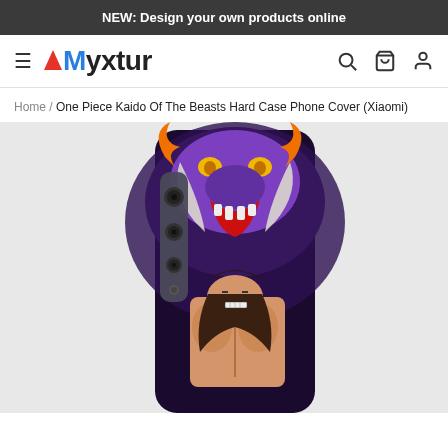NEW: Design your own products online
[Figure (logo): Myxtur logo with red triangle and text, plus hamburger menu icon and search, cart, user icons]
Home / One Piece Kaido Of The Beasts Hard Case Phone Cover (Xiaomi)
[Figure (photo): Phone case showing One Piece Kaido of the Beasts artwork — dark purple dragon beast above muscular character with horns, on a Xiaomi smartphone hard case]